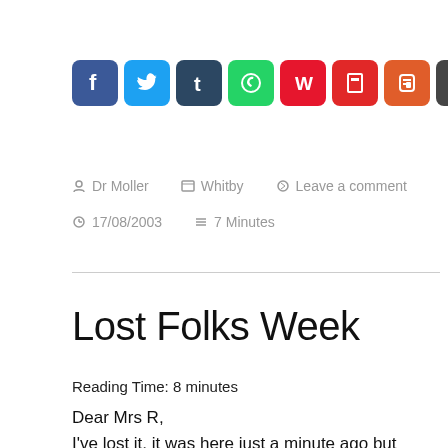[Figure (other): Social sharing icons bar: Facebook (blue), Twitter (blue), Tumblr (dark blue), WhatsApp (green), Weibo (red), Flipboard (red/orange), Blogger (red), WordPress (dark grey), Share (blue plus)]
Dr Moller   Whitby   Leave a comment
17/08/2003   7 Minutes
Lost Folks Week
Reading Time: 8 minutes
Dear Mrs R,
I've lost it, it was here just a minute ago but now I've lost it, it's lost, gone. I can't remember what it was now but it was